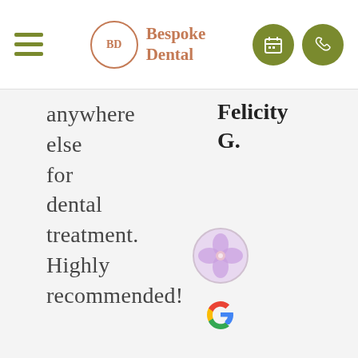Bespoke Dental
anywhere else for dental treatment. Highly recommended!
Felicity G.
[Figure (photo): Circular avatar photo of a user with a purple orchid flower image]
[Figure (logo): Google 'G' logo in Google brand colors (red, blue, yellow, green)]